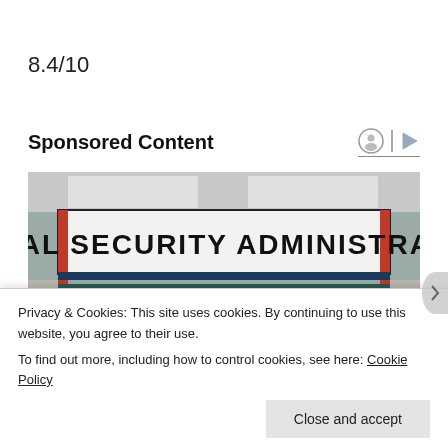8.4/10
Sponsored Content
[Figure (photo): Photograph of a Social Security Administration building exterior with large sign reading 'SOCIAL SECURITY ADMINISTRATION' over entrance doors with red columns]
Privacy & Cookies: This site uses cookies. By continuing to use this website, you agree to their use.
To find out more, including how to control cookies, see here: Cookie Policy
Close and accept